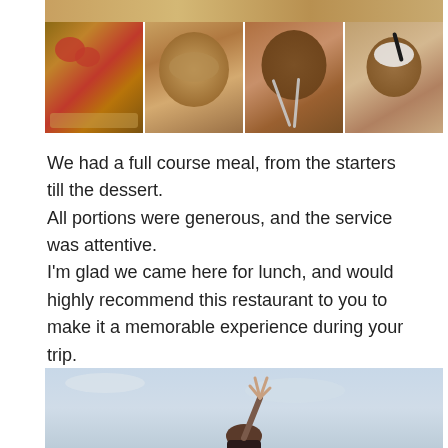[Figure (photo): Collage of food photos showing dishes served in terracotta clay bowls — a dish with roasted vegetables and tomatoes, a soup or stew, an empty clay bowl with spoons, and a dessert with cream in a clay cup. Images arranged in two rows.]
We had a full course meal, from the starters till the dessert.
All portions were generous, and the service was attentive.
I'm glad we came here for lunch, and would highly recommend this restaurant to you to make it a memorable experience during your trip.
Super excellent!
[Figure (photo): A person standing outdoors against a cloudy sky, raising one hand in a peace sign gesture. The person has dark hair and is wearing a red and black jacket.]